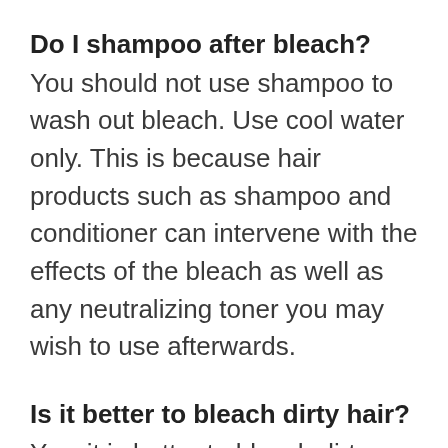Do I shampoo after bleach?
You should not use shampoo to wash out bleach. Use cool water only. This is because hair products such as shampoo and conditioner can intervene with the effects of the bleach as well as any neutralizing toner you may wish to use afterwards.
Is it better to bleach dirty hair?
Yes, it is better to bleach dirty hair. This is because shampoo strips your hair of its natural oils which help
(faded) This is because shampoo strips your hair of its natural oils which help